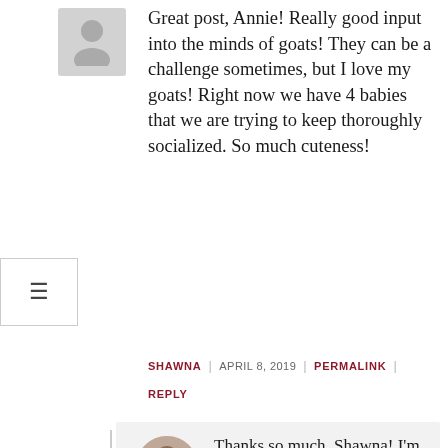[Figure (illustration): Generic person avatar placeholder icon, grey square background]
Great post, Annie! Really good input into the minds of goats! They can be a challenge sometimes, but I love my goats! Right now we have 4 babies that we are trying to keep thoroughly socialized. So much cuteness!
SHAWNA | APRIL 8, 2019 | PERMALINK | REPLY
[Figure (photo): Small circular avatar photo of Annie, the author]
Thanks so much, Shawna! I’m glad you enjoyed it!
AUTHOR ANNIE | APRIL 9, 2019 | PERMALINK
Thanks! I plan to get both goats and sheep over the next couple of years. I do